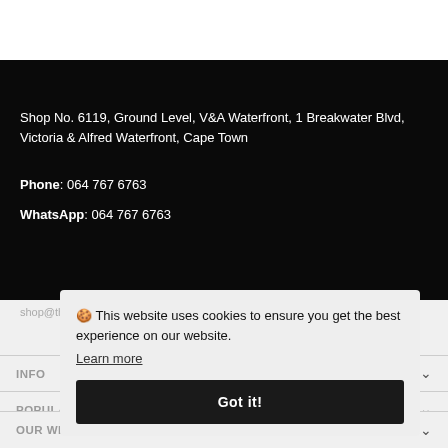Shop No. 6119, Ground Level, V&A Waterfront, 1 Breakwater Blvd, Victoria & Alfred Waterfront, Cape Town
Phone: 064 767 6763
WhatsApp: 064 767 6763
shop@theathletesfoot.co.za
🍪 This website uses cookies to ensure you get the best experience on our website.
Learn more
Got it!
INFO
POPULAR CATEGORIES
OUR WEBSITE